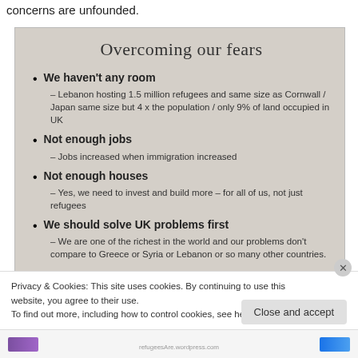concerns are unfounded.
[Figure (photo): Photo of a slide or poster titled 'Overcoming our fears' with bullet points about refugee-related concerns and counterarguments.]
We haven't any room
Lebanon hosting 1.5 million refugees and same size as Cornwall / Japan same size but 4 x the population / only 9% of land occupied in UK
Not enough jobs
Jobs increased when immigration increased
Not enough houses
Yes, we need to invest and build more – for all of us, not just refugees
We should solve UK problems first
We are one of the richest in the world and our problems don't compare to Greece or Syria or Lebanon or so many other countries.
Privacy & Cookies: This site uses cookies. By continuing to use this website, you agree to their use. To find out more, including how to control cookies, see here: Cookie Policy